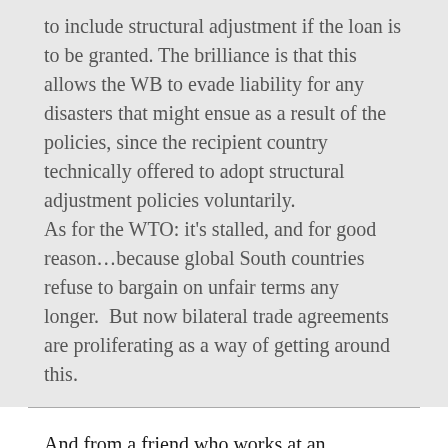to include structural adjustment if the loan is to be granted. The brilliance is that this allows the WB to evade liability for any disasters that might ensue as a result of the policies, since the recipient country technically offered to adopt structural adjustment policies voluntarily.
As for the WTO: it's stalled, and for good reason…because global South countries refuse to bargain on unfair terms any longer.  But now bilateral trade agreements are proliferating as a way of getting around this.
And from a friend who works at an international institution working on private-sector human rights abuses: